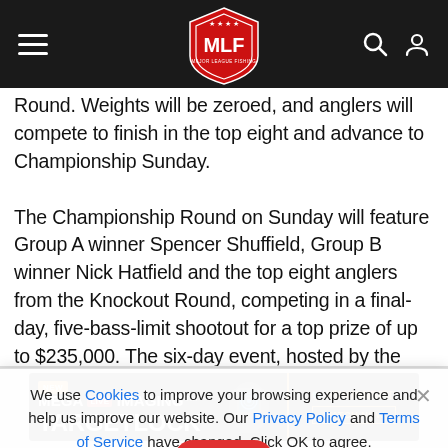MLF Major League Fishing navigation header
Round. Weights will be zeroed, and anglers will compete to finish in the top eight and advance to Championship Sunday.

The Championship Round on Sunday will feature Group A winner Spencer Shuffield, Group B winner Nick Hatfield and the top eight anglers from the Knockout Round, competing in a final-day, five-bass-limit shootout for a top prize of up to $235,000. The six-day event, hosted by the Town of Massena, showcases the top 48 pros in the 2022 Pro Circuit standings,
We use Cookies to improve your browsing experience and help us improve our website. Our Privacy Policy and Terms of Service have changed. Click OK to agree.
[Figure (other): Red OK button for cookie consent]
[Figure (other): Humminbird Mega Live Imaging Targetlock advertisement banner at bottom of page]